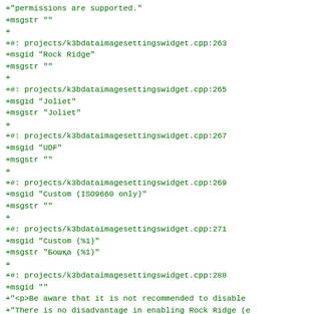permission are supported."
+msgstr ""
+
+#: projects/k3bdataimagesettingswidget.cpp:263
+msgid "Rock Ridge"
+msgstr ""
+
+#: projects/k3bdataimagesettingswidget.cpp:265
+msgid "Joliet"
+msgstr "Joliet"
+
+#: projects/k3bdataimagesettingswidget.cpp:267
+msgid "UDF"
+msgstr ""
+
+#: projects/k3bdataimagesettingswidget.cpp:269
+msgid "Custom (ISO9660 only)"
+msgstr ""
+
+#: projects/k3bdataimagesettingswidget.cpp:271
+msgid "Custom (%1)"
+msgstr "Бошқа (%1)"
+
+#: projects/k3bdataimagesettingswidget.cpp:288
+msgid ""
+"<p>Be aware that it is not recommended to disable
+"There is no disadvantage in enabling Rock Ridge (e
+"overhead) but a lot of advantages."
+"<p>Without Rock Ridge Extensions symbolic links ar
+"always be followed as if the \"Follow Symbolic Lin